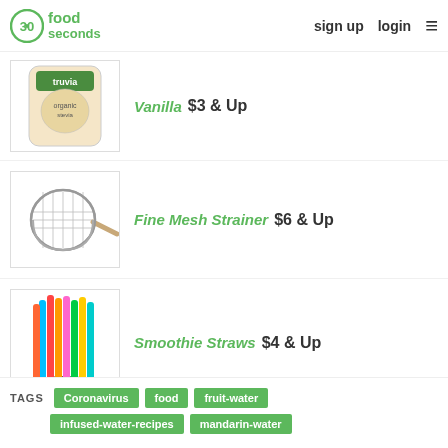30 seconds food | sign up | login
Vanilla $3 & Up
Fine Mesh Strainer $6 & Up
Smoothie Straws $4 & Up
TAGS Coronavirus food fruit-water infused-water-recipes mandarin-water